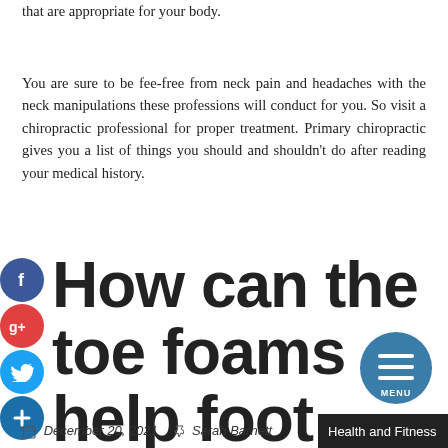that are appropriate for your body.
You are sure to be fee-free from neck pain and headaches with the neck manipulations these professions will conduct for you. So visit a chiropractic professional for proper treatment. Primary chiropractic gives you a list of things you should and shouldn't do after reading your medical history.
[Figure (other): Social media share icons: Facebook (blue circle with f), Google+ (red circle with g+), Twitter (blue circle with bird), and a blue circle with plus sign]
How can the toe foams help foot problems?
[Figure (other): Circular menu button with three horizontal lines and MENU text, dark blue/teal color]
December 20, 2021   Sarah Barnett   Health and Fitness